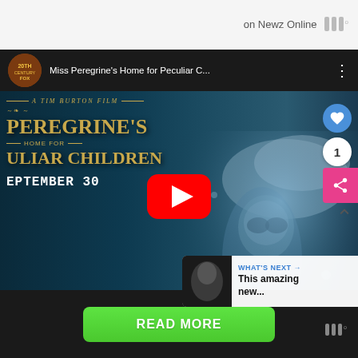on Newz Online
[Figure (screenshot): YouTube video embed showing Miss Peregrine's Home for Peculiar Children movie trailer. Header shows 20th Century Fox logo and truncated title 'Miss Peregrine's Home for Peculiar C...' with three-dot menu. Video thumbnail shows underwater scene with text 'A TIM BURTON FILM', 'PEREGRINE'S', 'HOME FOR', 'ULIAR CHILDREN', 'EPTEMBER 30' in golden letters on dark teal background. Red YouTube play button centered. UI overlays include: heart/like button (blue circle), counter bubble showing '1', pink share button, 'WHAT'S NEXT' card showing 'This amazing new...' text.]
READ MORE